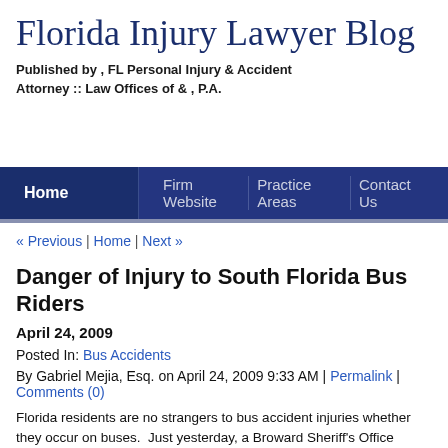Florida Injury Lawyer Blog
Published by , FL Personal Injury & Accident Attorney :: Law Offices of & , P.A.
Home | Firm Website | Practice Areas | Contact Us
« Previous | Home | Next »
Danger of Injury to South Florida Bus Riders
April 24, 2009
Posted In: Bus Accidents
By Gabriel Mejia, Esq. on April 24, 2009 9:33 AM | Permalink | Comments (0)
Florida residents are no strangers to bus accident injuries whether they occur on buses.  Just yesterday, a Broward Sheriff's Office deputy collided with a school bus School in Parkland.  The deputy and two children were taken to the hospital for ev numerous other bus accidents throughout South Florida underscore the necessity regulation in the bus industry.